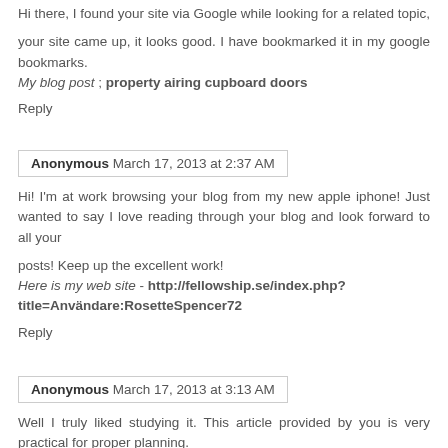Hi there, I found your site via Google while looking for a related topic,
your site came up, it looks good. I have bookmarked it in my google bookmarks.
My blog post ; property airing cupboard doors
Reply
Anonymous March 17, 2013 at 2:37 AM
Hi! I'm at work browsing your blog from my new apple iphone! Just wanted to say I love reading through your blog and look forward to all your
posts! Keep up the excellent work!
Here is my web site - http://fellowship.se/index.php?title=Användare:RosetteSpencer72
Reply
Anonymous March 17, 2013 at 3:13 AM
Well I truly liked studying it. This article provided by you is very practical for proper planning.
Here is my page music teacher jobs spain